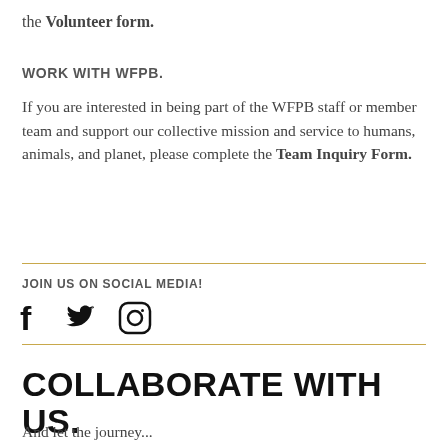the Volunteer form.
WORK WITH WFPB.
If you are interested in being part of the WFPB staff or member team and support our collective mission and service to humans, animals, and planet, please complete the Team Inquiry Form.
JOIN US ON SOCIAL MEDIA!
[Figure (illustration): Social media icons: Facebook (f), Twitter (bird), Instagram (camera circle)]
COLLABORATE WITH US.
And let the journey...